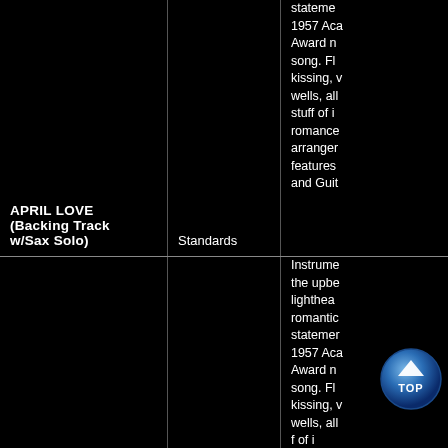| Song | Category | Description |
| --- | --- | --- |
| APRIL LOVE (Backing Track w/Sax Solo) | Standards | statement 1957 Aca Award n song. Fl kissing, v wells, all stuff of i romance arranger features and Guit |
| APRIL LOVE (Instrumental) | Movie/TV Themes | Instrume the upbe lighthea romantic statemer 1957 Aca Award n song. Fl kissing, v wells, all f of i omance arranger features |
[Figure (other): TOP navigation button (circular blue button with up arrow and TOP label)]